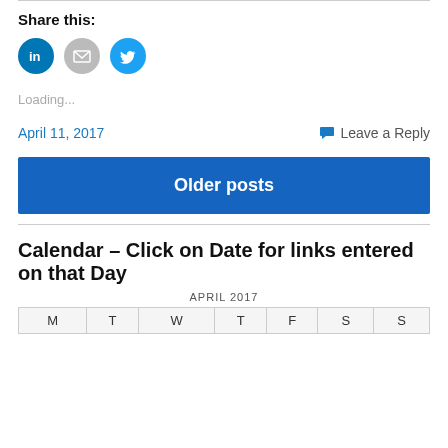Share this:
[Figure (illustration): Three social share icon buttons: LinkedIn (blue circle with 'in'), Email (grey circle with envelope), Twitter (blue circle with bird)]
Loading...
April 11, 2017
Leave a Reply
Older posts
Calendar – Click on Date for links entered on that Day
| M | T | W | T | F | S | S |
| --- | --- | --- | --- | --- | --- | --- |